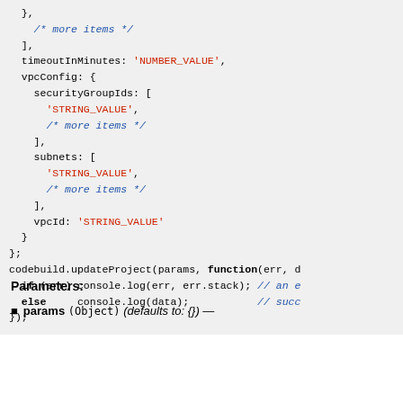code block showing JS object with timeoutInMinutes, vpcConfig fields and codebuild.updateProject call
Parameters:
params (Object) (defaults to: {}) —